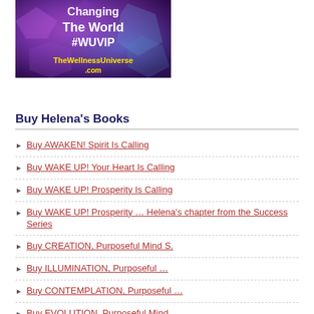[Figure (illustration): Promotional banner for TheWellnessUniverse.com showing colorful geometric background with text 'Changing The World #WUVIP' in white and 'TheWellnessUniverse.com' in yellow]
Buy Helena’s Books
Buy AWAKEN! Spirit Is Calling
Buy WAKE UP! Your Heart Is Calling
Buy WAKE UP! Prosperity Is Calling
Buy WAKE UP! Prosperity … Helena’s chapter from the Success Series
Buy CREATION, Purposeful Mind S.
Buy ILLUMINATION, Purposeful …
Buy CONTEMPLATION, Purposeful …
Buy EVOLUTION, Purposeful Mind